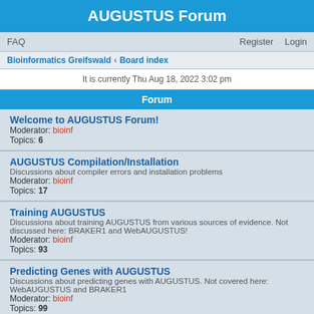AUGUSTUS Forum
FAQ   Register   Login
Bioinformatics Greifswald · Board index
It is currently Thu Aug 18, 2022 3:02 pm
Forum
Welcome to AUGUSTUS Forum!
Moderator: bioinf
Topics: 6
AUGUSTUS Compilation/Installation
Discussions about compiler errors and installation problems
Moderator: bioinf
Topics: 17
Training AUGUSTUS
Discussions about training AUGUSTUS from various sources of evidence. Not discussed here: BRAKER1 and WebAUGUSTUS!
Moderator: bioinf
Topics: 93
Predicting Genes with AUGUSTUS
Discussions about predicting genes with AUGUSTUS. Not covered here: WebAUGUSTUS and BRAKER1
Moderator: bioinf
Topics: 99
WebAUGUSTUS